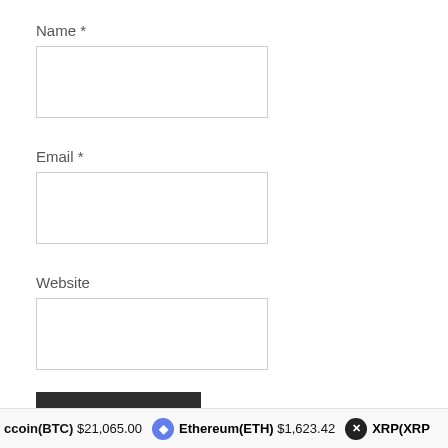Name *
[Figure (other): Empty text input box for Name field]
Email *
[Figure (other): Empty text input box for Email field]
Website
[Figure (other): Empty text input box for Website field]
Post Comment
ccoin(BTC) $21,065.00   Ethereum(ETH) $1,623.42   XRP(XRP